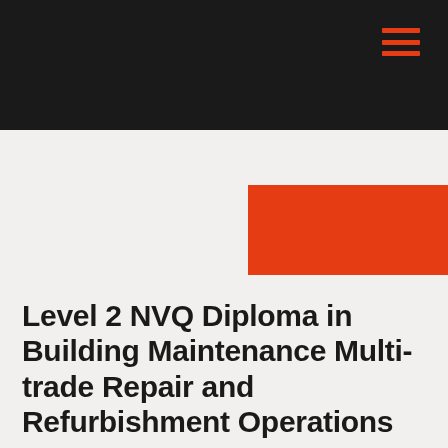[Figure (other): Red rectangular decorative block in upper right area of page body]
Level 2 NVQ Diploma in Building Maintenance Multi-trade Repair and Refurbishment Operations
£800.00  +VAT